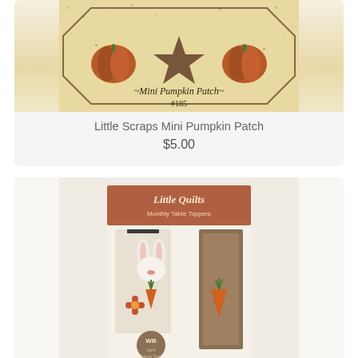[Figure (photo): Product image of Little Scraps Mini Pumpkin Patch quilt pattern #185, showing pumpkins on a textured background]
Little Scraps Mini Pumpkin Patch
$5.00
[Figure (photo): Product image of LittleQuilts Table Toppers April Carrot Tops pattern book, showing bunny and carrot quilted designs]
LittleQuilts Table Toppers Aprrril Carrot To...